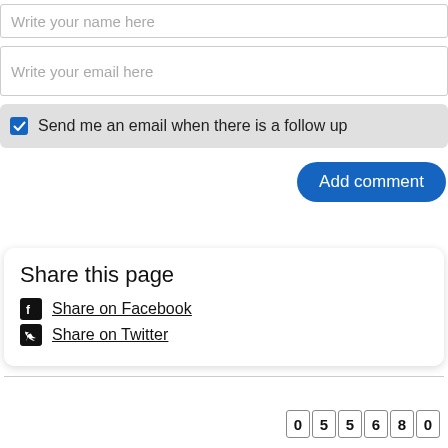Write your name here
Write your email here
Send me an email when there is a follow up
Add comment
Share this page
Share on Facebook
Share on Twitter
05680